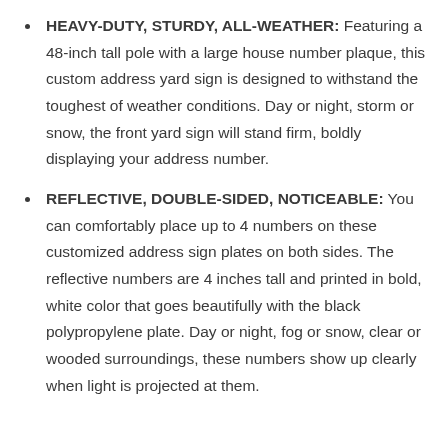HEAVY-DUTY, STURDY, ALL-WEATHER: Featuring a 48-inch tall pole with a large house number plaque, this custom address yard sign is designed to withstand the toughest of weather conditions. Day or night, storm or snow, the front yard sign will stand firm, boldly displaying your address number.
REFLECTIVE, DOUBLE-SIDED, NOTICEABLE: You can comfortably place up to 4 numbers on these customized address sign plates on both sides. The reflective numbers are 4 inches tall and printed in bold, white color that goes beautifully with the black polypropylene plate. Day or night, fog or snow, clear or wooded surroundings, these numbers show up clearly when light is projected at them.